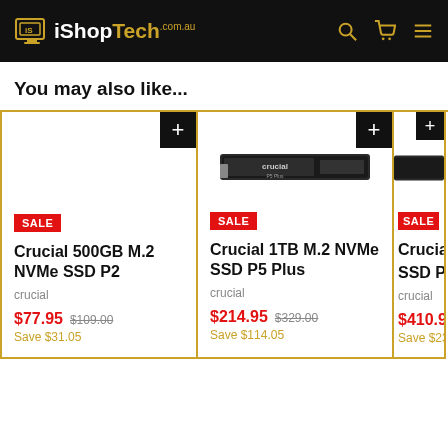iShopTech.com.au
You may also like...
[Figure (photo): Product card: Crucial 500GB M.2 NVMe SSD P2, SALE badge, price $77.95, was $109.00, Save $31.05]
[Figure (photo): Product card: Crucial 1TB M.2 NVMe SSD P5 Plus, SALE badge, price $214.95, was $329.00, Save $114.05]
[Figure (photo): Partial product card: Crucial 2TB M.2 NVMe SSD P5, SALE badge, price $410.9x, Save $23x (partially visible)]